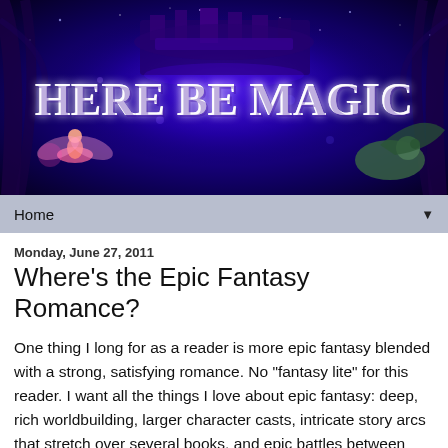[Figure (illustration): Fantasy themed banner image with purple/blue cosmic background, a futuristic castle/city structure in the center, text 'HERE BE MAGIC' in large serif white letters, a fairy/woman figure on the lower left, and a dragon-like creature on the lower right.]
Home ▼
Monday, June 27, 2011
Where's the Epic Fantasy Romance?
One thing I long for as a reader is more epic fantasy blended with a strong, satisfying romance. No "fantasy lite" for this reader. I want all the things I love about epic fantasy: deep, rich worldbuilding, larger character casts, intricate story arcs that stretch over several books, and epic battles between